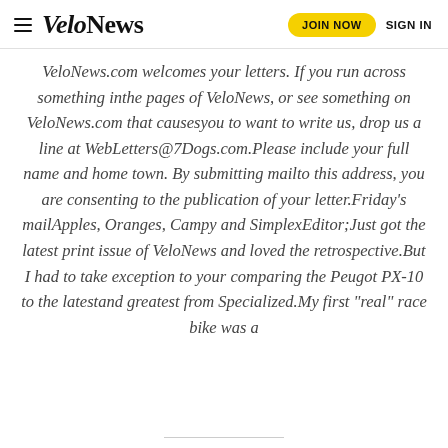VeloNews — JOIN NOW   SIGN IN
VeloNews.com welcomes your letters. If you run across something inthe pages of VeloNews, or see something on VeloNews.com that causesyou to want to write us, drop us a line at WebLetters@7Dogs.com.Please include your full name and home town. By submitting mailto this address, you are consenting to the publication of your letter.Friday's mailApples, Oranges, Campy and SimplexEditor;Just got the latest print issue of VeloNews and loved the retrospective.But I had to take exception to your comparing the Peugot PX-10 to the latestand greatest from Specialized.My first "real" race bike was a